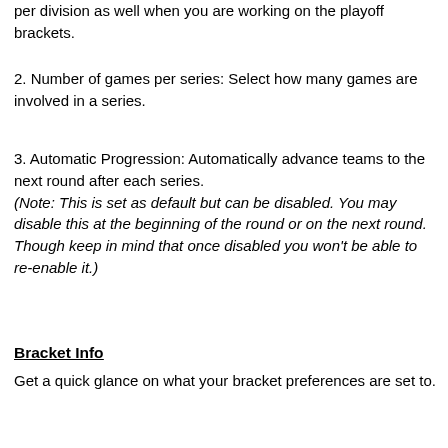per division as well when you are working on the playoff brackets.
2. Number of games per series: Select how many games are involved in a series.
3. Automatic Progression: Automatically advance teams to the next round after each series. (Note: This is set as default but can be disabled. You may disable this at the beginning of the round or on the next round. Though keep in mind that once disabled you won't be able to re-enable it.)
Bracket Info
Get a quick glance on what your bracket preferences are set to.